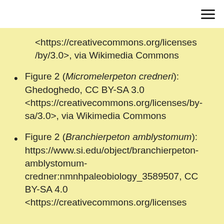☰
<https://creativecommons.org/licenses/by/3.0>, via Wikimedia Commons
Figure 2 (Micromelerpeton credneri): Ghedoghedo, CC BY-SA 3.0 <https://creativecommons.org/licenses/by-sa/3.0>, via Wikimedia Commons
Figure 2 (Branchierpeton amblystomum): https://www.si.edu/object/branchierpeton-amblystomum-credner:nmnhpaleobiology_3589507, CC BY-SA 4.0 <https://creativecommons.org/licenses